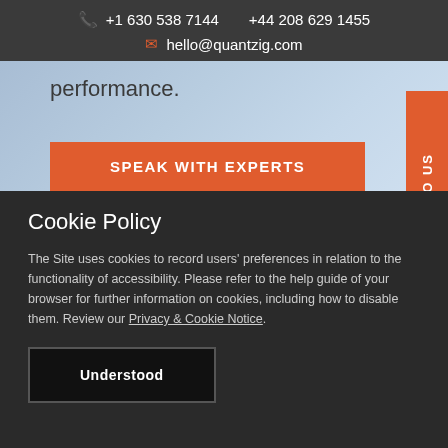+1 630 538 7144   +44 208 629 1455   hello@quantzig.com
performance.
SPEAK WITH EXPERTS
Cookie Policy
The Site uses cookies to record users' preferences in relation to the functionality of accessibility. Please refer to the help guide of your browser for further information on cookies, including how to disable them. Review our Privacy & Cookie Notice.
Understood